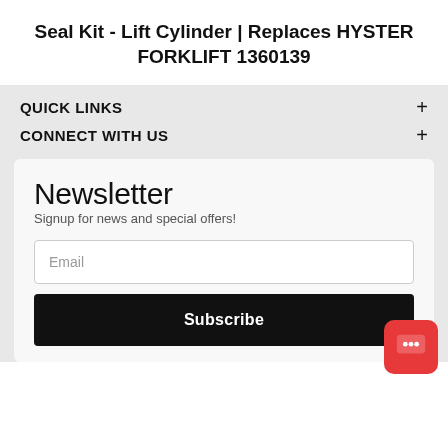Seal Kit - Lift Cylinder | Replaces HYSTER FORKLIFT 1360139
QUICK LINKS
CONNECT WITH US
Newsletter
Signup for news and special offers!
Email
Subscribe